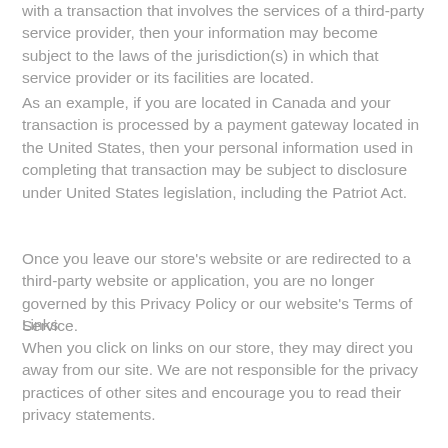with a transaction that involves the services of a third-party service provider, then your information may become subject to the laws of the jurisdiction(s) in which that service provider or its facilities are located.
As an example, if you are located in Canada and your transaction is processed by a payment gateway located in the United States, then your personal information used in completing that transaction may be subject to disclosure under United States legislation, including the Patriot Act.
Once you leave our store's website or are redirected to a third-party website or application, you are no longer governed by this Privacy Policy or our website's Terms of Service.
Links
When you click on links on our store, they may direct you away from our site. We are not responsible for the privacy practices of other sites and encourage you to read their privacy statements.